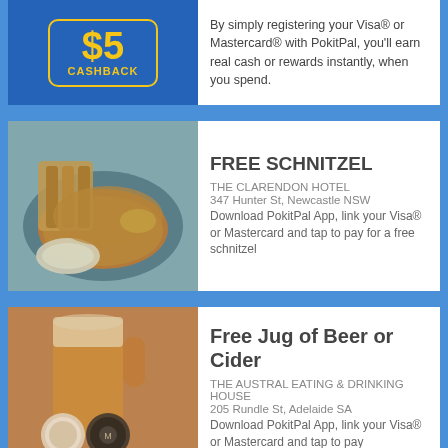[Figure (illustration): $5 CASHBACK box with yellow text on blue background]
By simply registering your Visa® or Mastercard® with PokitPal, you'll earn real cash or rewards instantly, when you spend.
[Figure (photo): Photo of a schnitzel dish with coleslaw, chips, and lemon on a plate]
FREE SCHNITZEL
THE CLARENDON HOTEL
347 Hunter St, Newcastle NSW
Download PokitPal App, link your Visa® or Mastercard and tap to pay for a free schnitzel
[Figure (photo): Photo of a hand holding a jug of beer with brewery logos visible]
Free Jug of Beer or Cider
THE AUSTRAL EATING & DRINKING HOUSE
205 Rundle St, Adelaide SA
Download PokitPal App, link your Visa® or Mastercard and tap to pay for a free jug of beer or cider